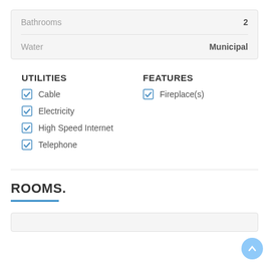| Property | Value |
| --- | --- |
| Bathrooms | 2 |
| Water | Municipal |
UTILITIES
Cable
Electricity
High Speed Internet
Telephone
FEATURES
Fireplace(s)
ROOMS.